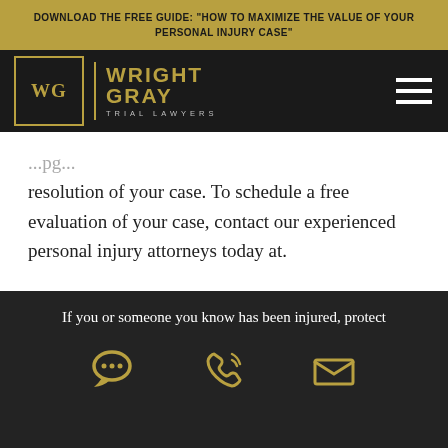DOWNLOAD THE FREE GUIDE: "HOW TO MAXIMIZE THE VALUE OF YOUR PERSONAL INJURY CASE"
[Figure (logo): Wright Gray Trial Lawyers logo with WG monogram in gold on black, with navigation hamburger menu]
resolution of your case. To schedule a free evaluation of your case, contact our experienced personal injury attorneys today at.
If you or someone you know has been injured, protect
[Figure (infographic): Three gold icons: chat bubble with ellipsis, phone with sound waves, envelope]